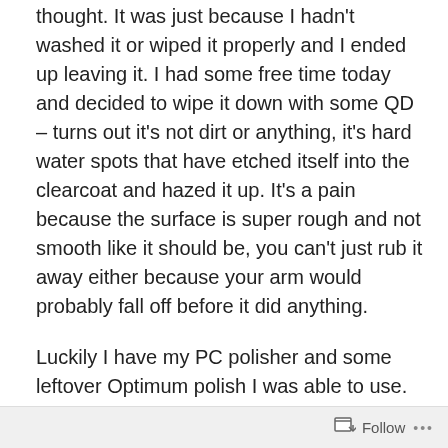thought. It was just because I hadn't washed it or wiped it properly and I ended up leaving it. I had some free time today and decided to wipe it down with some QD – turns out it's not dirt or anything, it's hard water spots that have etched itself into the clearcoat and hazed it up. It's a pain because the surface is super rough and not smooth like it should be, you can't just rub it away either because your arm would probably fall off before it did anything.
Luckily I have my PC polisher and some leftover Optimum polish I was able to use. The polish is used to remove 1500-2000 grit swirls on paint, but I've found that it's good enough to remove tons of things like haze on the headlights as long as it's not too bad, a majority of light swirls and marring on paint and of course, getting carbon fiber back to the nice shine it used to have back on day 1.
Follow